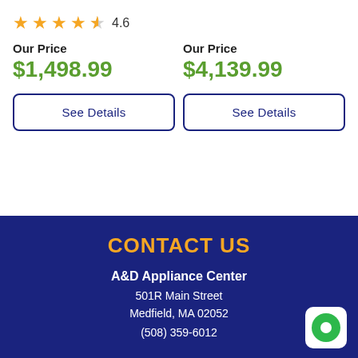4.6 stars rating
Our Price $1,498.99
Our Price $4,139.99
See Details
See Details
CONTACT US
A&D Appliance Center
501R Main Street
Medfield, MA 02052
(508) 359-6012